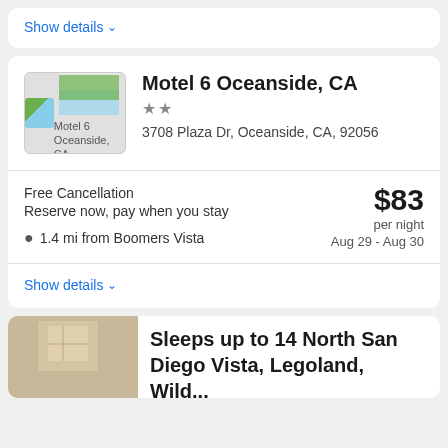Show details ∨
Motel 6 Oceanside, CA
★★
3708 Plaza Dr, Oceanside, CA, 92056
Free Cancellation
Reserve now, pay when you stay
1.4 mi from Boomers Vista
$83 per night
Aug 29 - Aug 30
Show details ∨
Sleeps up to 14 North San Diego Vista, Legoland, Wild...